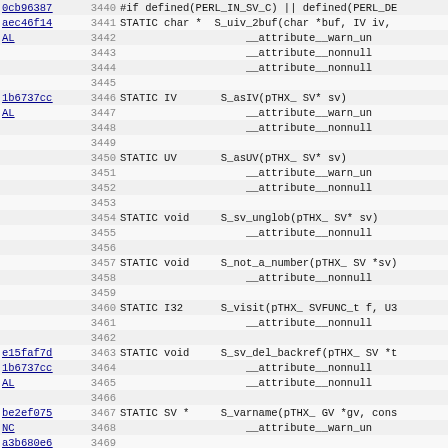| hash | line | code |
| --- | --- | --- |
| 0cb96387 | 3440 | #if defined(PERL_IN_SV_C) || defined(PERL_DE |
| aec46f14 | 3441 | STATIC char *  S_uiv_2buf(char *buf, IV iv, |
| AL | 3442 |                     __attribute__warn_un |
|  | 3443 |                     __attribute__nonnull |
|  | 3444 |                     __attribute__nonnull |
|  | 3445 |  |
| 1b6737cc | 3446 | STATIC IV       S_asIV(pTHX_ SV* sv) |
| AL | 3447 |                     __attribute__warn_un |
|  | 3448 |                     __attribute__nonnull |
|  | 3449 |  |
|  | 3450 | STATIC UV       S_asUV(pTHX_ SV* sv) |
|  | 3451 |                     __attribute__warn_un |
|  | 3452 |                     __attribute__nonnull |
|  | 3453 |  |
|  | 3454 | STATIC void     S_sv_unglob(pTHX_ SV* sv) |
|  | 3455 |                     __attribute__nonnull |
|  | 3456 |  |
|  | 3457 | STATIC void     S_not_a_number(pTHX_ SV *sv) |
|  | 3458 |                     __attribute__nonnull |
|  | 3459 |  |
|  | 3460 | STATIC I32      S_visit(pTHX_ SVFUNC_t f, U3 |
|  | 3461 |                     __attribute__nonnull |
|  | 3462 |  |
| e15faf7d | 3463 | STATIC void     S_sv_del_backref(pTHX_ SV *t |
| 1b6737cc | 3464 |                     __attribute__nonnull |
| AL | 3465 |                     __attribute__nonnull |
|  | 3466 |  |
| be2ef075 | 3467 | STATIC SV *     S_varname(pTHX_ GV *gv, cons |
| NC | 3468 |                     __attribute__warn_un |
| a3b680e6 | 3469 |  |
| 8fa7f367 | 3470 | #  ifdef DEBUGGING |
| 46c461b5 | 3471 | STATIC void     S_del_sv(pTHX_ SV *p) |
| AL | 3472 |                     __attribute__ |